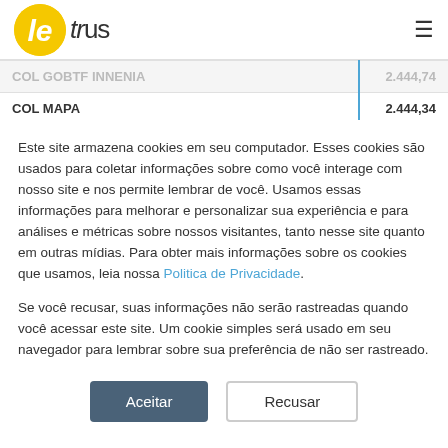Letrus
|  |  |  |
| --- | --- | --- |
| COL GOBTF INNENIA |  | 2.444,74 |
| COL MAPA |  | 2.444,34 |
| COL PRESBITERIANO MACKENZIE – BRASILIA |  | 2.443,74 |
Este site armazena cookies em seu computador. Esses cookies são usados para coletar informações sobre como você interage com nosso site e nos permite lembrar de você. Usamos essas informações para melhorar e personalizar sua experiência e para análises e métricas sobre nossos visitantes, tanto nesse site quanto em outras mídias. Para obter mais informações sobre os cookies que usamos, leia nossa Politica de Privacidade.
Se você recusar, suas informações não serão rastreadas quando você acessar este site. Um cookie simples será usado em seu navegador para lembrar sobre sua preferência de não ser rastreado.